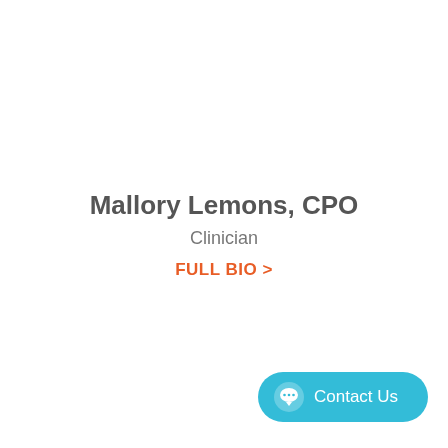Mallory Lemons, CPO
Clinician
FULL BIO >
[Figure (other): Contact Us chat button in cyan/teal color with speech bubble icon]